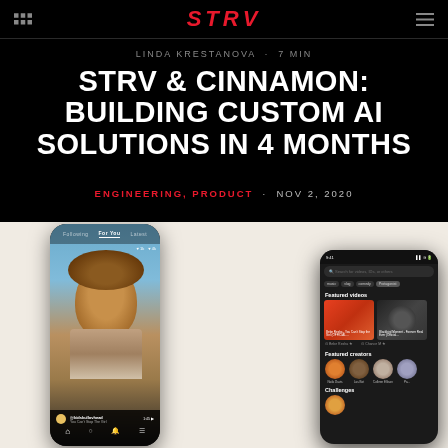STRV
LINDA KRESTANOVA · 7 MIN
STRV & CINNAMON: BUILDING CUSTOM AI SOLUTIONS IN 4 MONTHS
ENGINEERING, PRODUCT · NOV 2, 2020
[Figure (screenshot): Two mobile app screenshots side by side: left shows a TikTok-style video feed with a woman laughing, right shows a dark-themed video discovery app called Cinnamon with Featured videos and Featured creators sections]